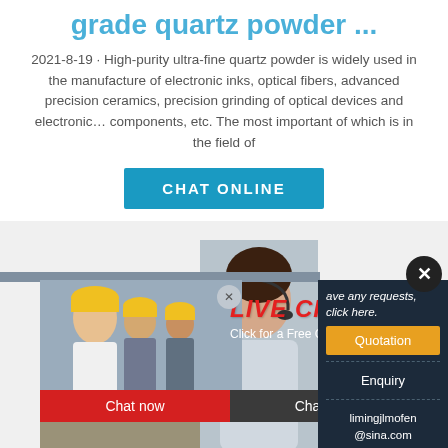grade quartz powder ...
2021-8-19 · High-purity ultra-fine quartz powder is widely used in the manufacture of electronic inks, optical fibers, advanced precision ceramics, precision grinding of optical devices and electronic… components, etc. The most important of which is in the field of
[Figure (screenshot): CHAT ONLINE blue button]
[Figure (screenshot): Live chat popup with workers in yellow hard hats, LIVE CHAT text in red, 'Click for a Free Consultation', Chat now red button, Chat later dark button, customer service lady with headset on right side, close X button]
[Figure (screenshot): Side panel with dark background showing: 'ave any requests, click here.', Quotation orange button, Enquiry text, limingjlmofen@sina.com email, and industrial machine below]